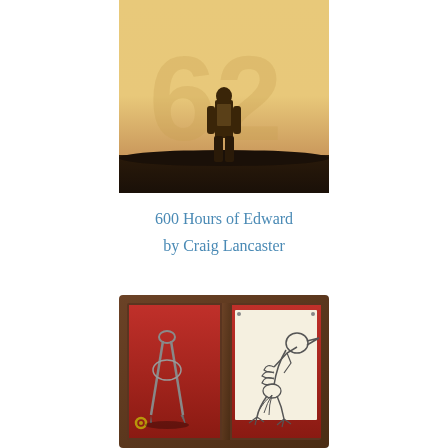[Figure (photo): Top half: A silhouetted person standing on a dark road or hill against a warm golden/orange sky background with faint large numerals visible in the background.]
600 Hours of Edward
by Craig Lancaster
[Figure (photo): Bottom half: A wooden display case with red-lined compartments. Left compartment shows a metal compass/drafting tool. Right compartment shows a sketch/illustration of a bird skeleton pinned to cream-colored paper.]